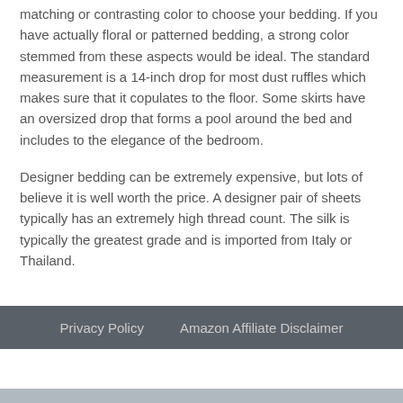matching or contrasting color to choose your bedding. If you have actually floral or patterned bedding, a strong color stemmed from these aspects would be ideal. The standard measurement is a 14-inch drop for most dust ruffles which makes sure that it copulates to the floor. Some skirts have an oversized drop that forms a pool around the bed and includes to the elegance of the bedroom.
Designer bedding can be extremely expensive, but lots of believe it is well worth the price. A designer pair of sheets typically has an extremely high thread count. The silk is typically the greatest grade and is imported from Italy or Thailand.
Privacy Policy   Amazon Affiliate Disclaimer